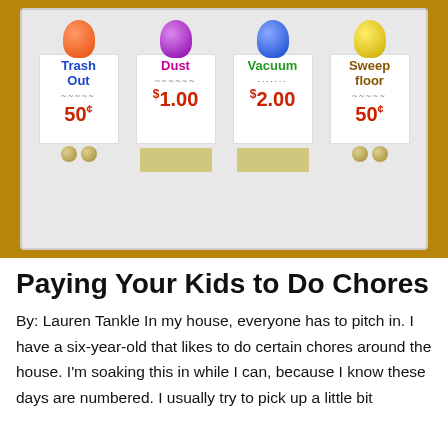[Figure (photo): A plastic tray divided into four sections, each containing a handwritten chore card held by a colored pushpin. Chores and prices: Trash Out (50¢, orange pin), Dust ($1.00, purple pin), Vacuum ($2.00, blue pin), Sweep Floor (50¢, yellow pin). Money and coins are visible in the compartments.]
Paying Your Kids to Do Chores
By: Lauren Tankle In my house, everyone has to pitch in. I have a six-year-old that likes to do certain chores around the house. I'm soaking this in while I can, because I know these days are numbered. I usually try to pick up a little bit